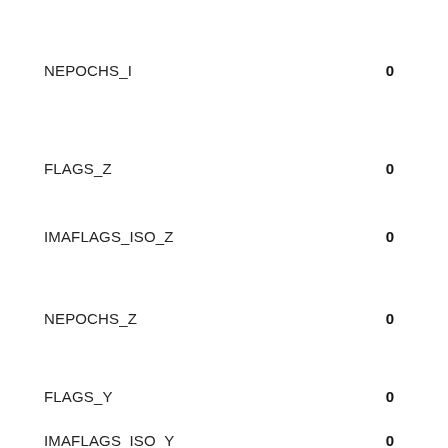NEPOCHS_I   0
FLAGS_Z   0
IMAFLAGS_ISO_Z   0
NEPOCHS_Z   0
FLAGS_Y   0
IMAFLAGS_ISO_Y   0